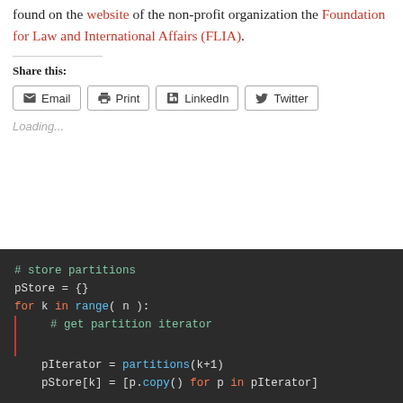found on the website of the non-profit organization the Foundation for Law and International Affairs (FLIA).
Share this:
[Figure (other): Share buttons: Email, Print, LinkedIn, Twitter]
Loading...
[Figure (screenshot): Python code block: # store partitions
pStore = {}
for k in range( n ):
    # get partition iterator
    pIterator = partitions(k+1)
    pStore[k] = [p.copy() for p in pIterator]]